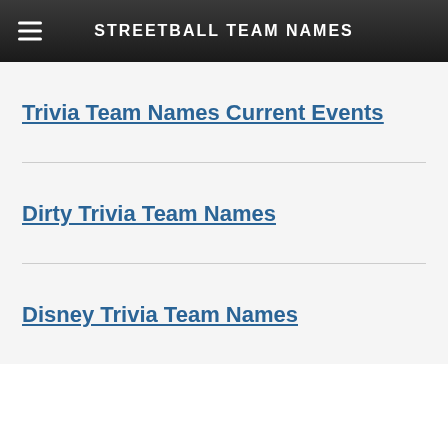STREETBALL TEAM NAMES
Trivia Team Names Current Events
Dirty Trivia Team Names
Disney Trivia Team Names